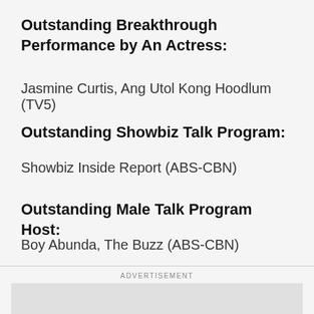Outstanding Breakthrough Performance by An Actress:
Jasmine Curtis, Ang Utol Kong Hoodlum (TV5)
Outstanding Showbiz Talk Program:
Showbiz Inside Report (ABS-CBN)
Outstanding Male Talk Program Host:
Boy Abunda, The Buzz (ABS-CBN)
Outstanding Female Talk Program Host:
ADVERTISEMENT